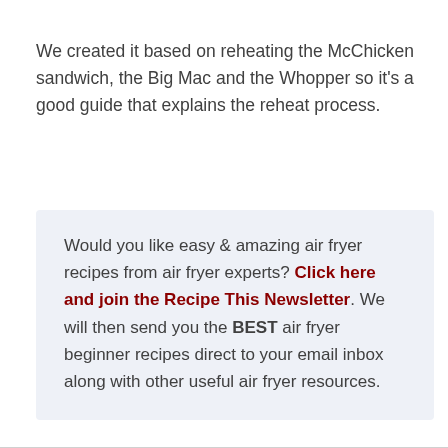We created it based on reheating the McChicken sandwich, the Big Mac and the Whopper so it's a good guide that explains the reheat process.
Would you like easy & amazing air fryer recipes from air fryer experts? Click here and join the Recipe This Newsletter. We will then send you the BEST air fryer beginner recipes direct to your email inbox along with other useful air fryer resources.